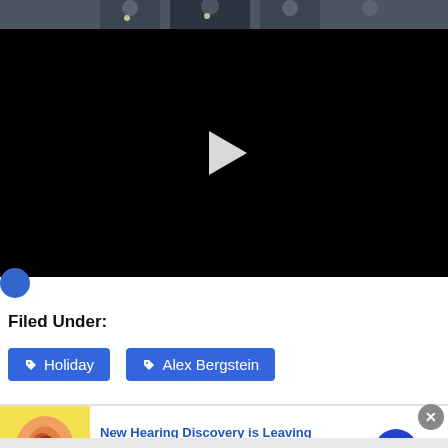[Figure (photo): Police officers in uniform standing together, partial view at top of page]
[Figure (screenshot): Black video player with white play button triangle in center]
Filed Under:
Holiday
Alex Bergstein
[Figure (photo): Advertisement: New Hearing Discovery is Leaving Doctors - shows ear anatomy illustration with navigation arrow]
New Hearing Discovery is Leaving Doctors
n/a